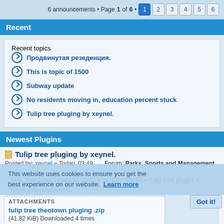6 announcements • Page 1 of 6 • 1 2 3 4 5 6
Recent
Recent topics
Продвинутая резеденция.
This is topic of 1500
Subway update
No residents moving in, education percent stuck
Tulip tree pluging by xeynel.
Newest Plugins
Tulip tree pluging by xeynel.
Posted by: xeynel » Today, 03:49   Forum: Parks, Sports and Management
Hey, theotown I want to show you guys my new tulip tree plugin. I hope you guys like it.
tulip tree theotown pluging .zip
(41.82 KiB) Downloaded 7 times
This website uses cookies to ensure you get the best experience on our website. Learn more
ATTACHMENTS
tulip tree theotown pluging .zip
(41.82 KiB) Downloaded 4 times